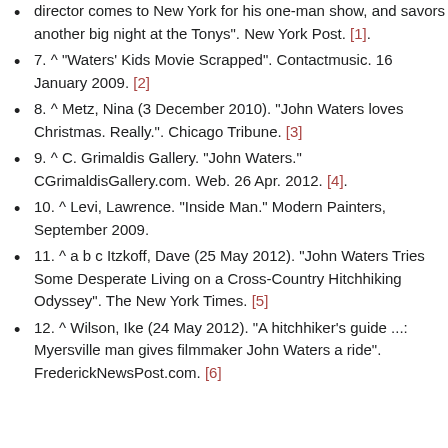director comes to New York for his one-man show, and savors another big night at the Tonys". New York Post. [1].
7. ^ "Waters' Kids Movie Scrapped". Contactmusic. 16 January 2009. [2]
8. ^ Metz, Nina (3 December 2010). "John Waters loves Christmas. Really.". Chicago Tribune. [3]
9. ^ C. Grimaldis Gallery. "John Waters." CGrimaldisGallery.com. Web. 26 Apr. 2012. [4].
10. ^ Levi, Lawrence. "Inside Man." Modern Painters, September 2009.
11. ^ a b c Itzkoff, Dave (25 May 2012). "John Waters Tries Some Desperate Living on a Cross-Country Hitchhiking Odyssey". The New York Times. [5]
12. ^ Wilson, Ike (24 May 2012). "A hitchhiker's guide ...: Myersville man gives filmmaker John Waters a ride". FrederickNewsPost.com. [6]